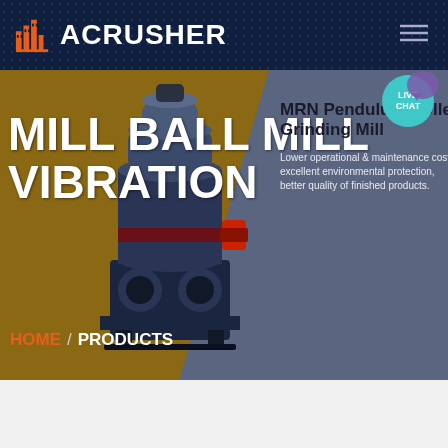ACRUSHER
[Figure (screenshot): Website screenshot showing ACRUSHER brand with a MRN Pendulum Roller Grinding Mill product page, featuring a dark navy navigation bar with logo, a hero section split between brown and gray panels, a ball mill machine image, and breadcrumb navigation.]
MILL BALL MILL VIBRATION
MRN Pendulum Roller Grinding Mill
Lower operational & maintenance costs, excellent environmental protection, better quality of finished products.
HOME  /  PRODUCTS